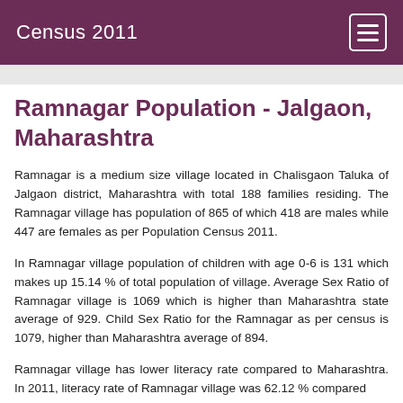Census 2011
Ramnagar Population - Jalgaon, Maharashtra
Ramnagar is a medium size village located in Chalisgaon Taluka of Jalgaon district, Maharashtra with total 188 families residing. The Ramnagar village has population of 865 of which 418 are males while 447 are females as per Population Census 2011.
In Ramnagar village population of children with age 0-6 is 131 which makes up 15.14 % of total population of village. Average Sex Ratio of Ramnagar village is 1069 which is higher than Maharashtra state average of 929. Child Sex Ratio for the Ramnagar as per census is 1079, higher than Maharashtra average of 894.
Ramnagar village has lower literacy rate compared to Maharashtra. In 2011, literacy rate of Ramnagar village was 62.12 % compared